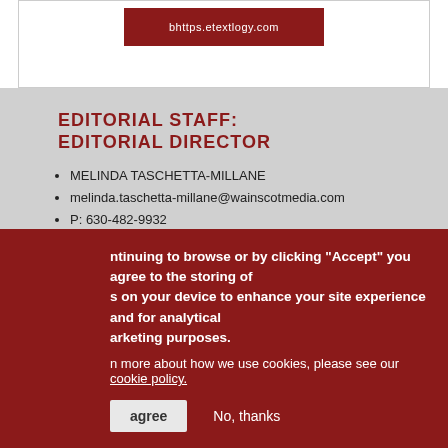[Figure (screenshot): Top white section with red banner button (partially visible URL/button)]
EDITORIAL STAFF: EDITORIAL DIRECTOR
MELINDA TASCHETTA-MILLANE
melinda.taschetta-millane@wainscotmedia.com
P: 630-482-9932
MANAGING EDITOR
...ntinuing to browse or by clicking "Accept" you agree to the storing of ...s on your device to enhance your site experience and for analytical ...arketing purposes.
...n more about how we use cookies, please see our cookie policy.
agree   No, thanks